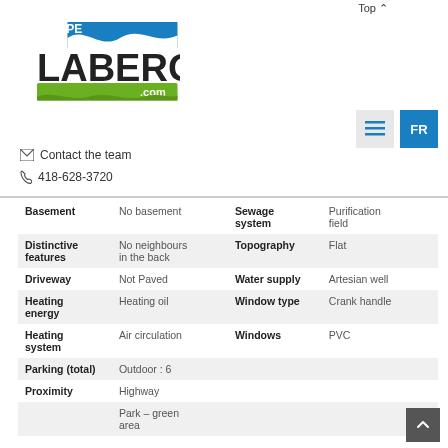[Figure (logo): Équipe Laberge .com logo with blue/green wave design and bold LABERGE text]
Contact the team
418-628-3720
| Property | Value | Property | Value |
| --- | --- | --- | --- |
| Basement | No basement | Sewage system | Purification field |
| Distinctive features | No neighbours in the back | Topography | Flat |
| Driveway | Not Paved | Water supply | Artesian well |
| Heating energy | Heating oil | Window type | Crank handle |
| Heating system | Air circulation | Windows | PVC |
| Parking (total) | Outdoor : 6 |  |  |
| Proximity | Highway |  |  |
|  | Park – green area |  |  |